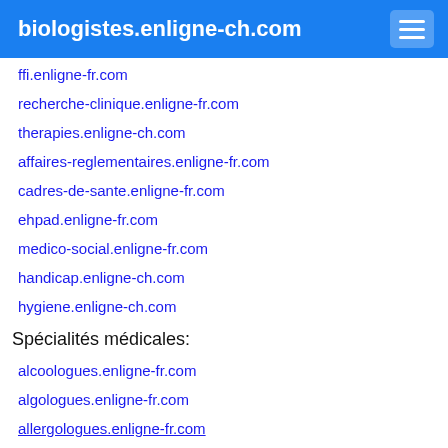biologistes.enligne-ch.com
ffi.enligne-fr.com
recherche-clinique.enligne-fr.com
therapies.enligne-ch.com
affaires-reglementaires.enligne-fr.com
cadres-de-sante.enligne-fr.com
ehpad.enligne-fr.com
medico-social.enligne-fr.com
handicap.enligne-ch.com
hygiene.enligne-ch.com
Spécialités médicales:
alcoologues.enligne-fr.com
algologues.enligne-fr.com
allergologues.enligne-fr.com